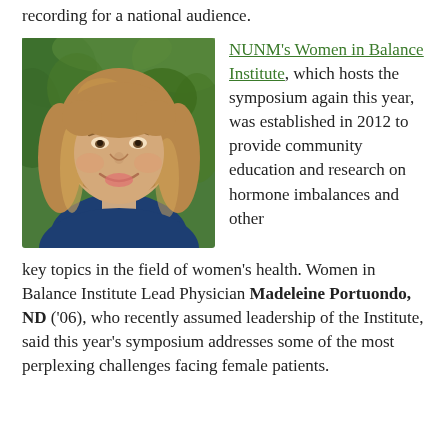recording for a national audience.
[Figure (photo): Headshot of a smiling woman with long curly blonde hair wearing a dark blue top, photographed outdoors in front of green foliage.]
NUNM's Women in Balance Institute, which hosts the symposium again this year, was established in 2012 to provide community education and research on hormone imbalances and other key topics in the field of women's health. Women in Balance Institute Lead Physician Madeleine Portuondo, ND ('06), who recently assumed leadership of the Institute, said this year's symposium addresses some of the most perplexing challenges facing female patients.